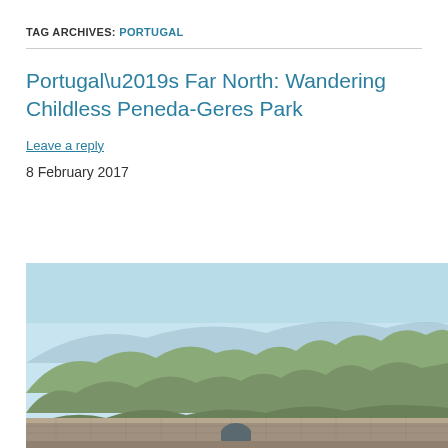TAG ARCHIVES: PORTUGAL
Portugal’s Far North: Wandering Childless Peneda-Geres Park
Leave a reply
8 February 2017
[Figure (photo): Mountain landscape with rocky peaks and a stone fortress wall in the foreground under a clear blue sky, Peneda-Geres Park, Portugal]